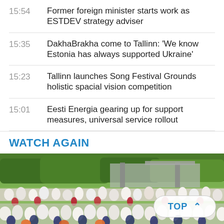15:54  Former foreign minister starts work as ESTDEV strategy adviser
15:35  DakhaBrakha come to Tallinn: 'We know Estonia has always supported Ukraine'
15:23  Tallinn launches Song Festival Grounds holistic spacial vision competition
15:01  Eesti Energia gearing up for support measures, universal service rollout
WATCH AGAIN
[Figure (photo): Large crowd of people in traditional folk costumes gathered outdoors at what appears to be a song festival, with trees and stage structures visible in the background. A 'TOP ^' button overlay appears in the lower right.]